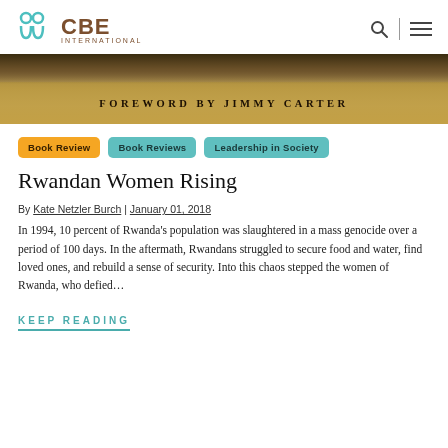CBE INTERNATIONAL
[Figure (photo): Book cover banner showing 'Foreword by Jimmy Carter' text over a landscape/field background]
Book Review
Book Reviews
Leadership in Society
Rwandan Women Rising
By Kate Netzler Burch | January 01, 2018
In 1994, 10 percent of Rwanda's population was slaughtered in a mass genocide over a period of 100 days. In the aftermath, Rwandans struggled to secure food and water, find loved ones, and rebuild a sense of security. Into this chaos stepped the women of Rwanda, who defied…
KEEP READING